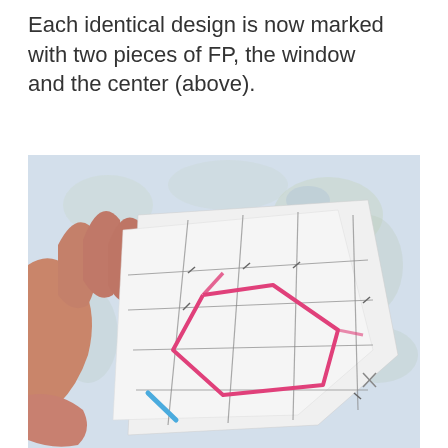Each identical design is now marked with two pieces of FP, the window and the center (above).
[Figure (photo): A hand holding two pieces of white paper with FP (foundation paper) markings — gray grid lines, pink lines forming a pentagon shape, and a blue mark — against a floral fabric background.]